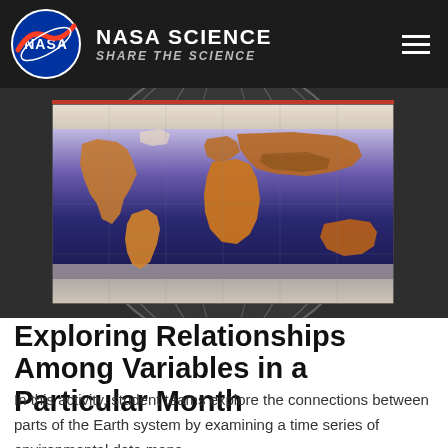NASA SCIENCE — SHARE THE SCIENCE
[Figure (map): NASA world map showing global environmental/temperature data with orange-brown continents on a blue-purple ocean background, displayed on a globe graphic]
Exploring Relationships Among Variables in a Particular Month
In this activity, student teams explore the connections between parts of the Earth system by examining a time series of environmental data maps.